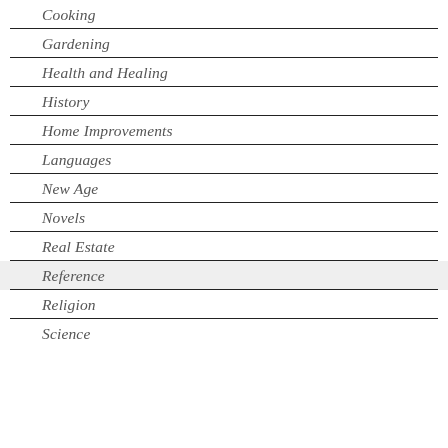Cooking
Gardening
Health and Healing
History
Home Improvements
Languages
New Age
Novels
Real Estate
Reference
Religion
Science